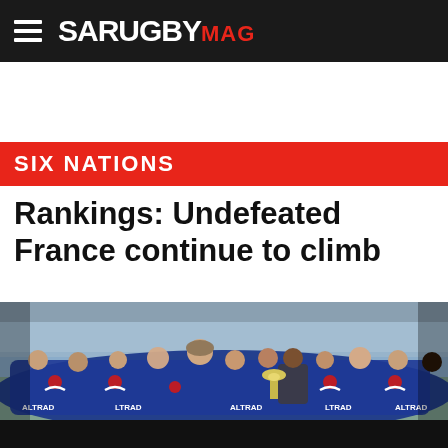SA RUGBY MAG
SIX NATIONS
Rankings: Undefeated France continue to climb
[Figure (photo): France rugby team celebrating on field wearing blue Altrad-sponsored jerseys, group photo with trophy, stadium stands visible in background]